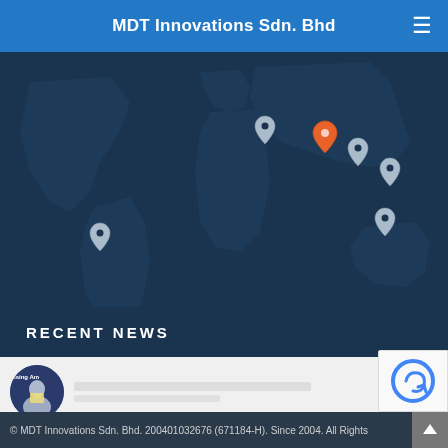MDT Innovations Sdn. Bhd
[Figure (map): Dark blue world map with location pin markers. Multiple gray/white pins visible in South America, Central Asia, and Asia-Pacific regions. One orange/red pin highlighted in the Middle East/Central Asia area.]
RECENT NEWS
[Figure (photo): Circular thumbnail photo showing a person at an awards ceremony, holding a certificate, with text 'Rising Am...' visible. Dark background.]
[Figure (photo): Circular thumbnail photo showing a person with head in hands, appears distressed. Small logo in top-left corner of thumbnail.]
© MDT Innovations Sdn. Bhd. 200401032676 (671184-H). Since 2004. All Rights